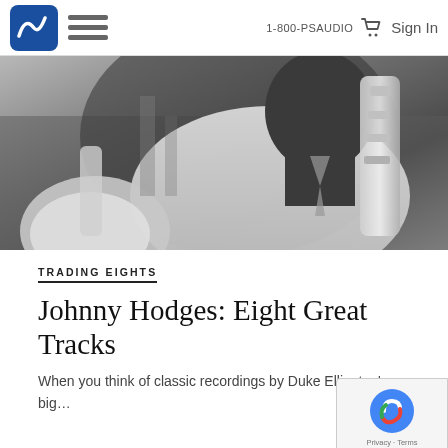1-800-PSAUDIO  Sign In
[Figure (photo): Black and white photograph of a jazz musician in a white suit holding a saxophone, with another brass instrument visible in the foreground]
TRADING EIGHTS
Johnny Hodges: Eight Great Tracks
When you think of classic recordings by Duke Ellington's big…